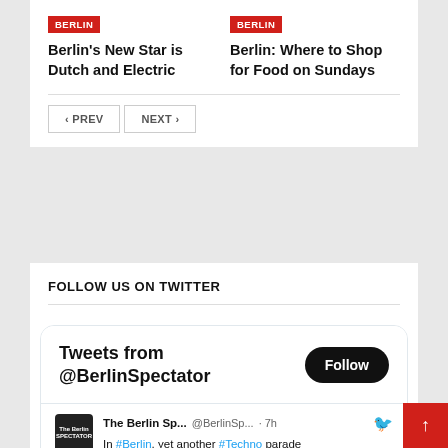[Figure (other): Red BERLIN badge above article title]
Berlin's New Star is Dutch and Electric
[Figure (other): Red BERLIN badge above article title]
Berlin: Where to Shop for Food on Sundays
< PREV   NEXT >
FOLLOW US ON TWITTER
Tweets from @BerlinSpectator
Follow
The Berlin Sp...  @BerlinSp...  · 7h
In #Berlin, yet another #Techno parade